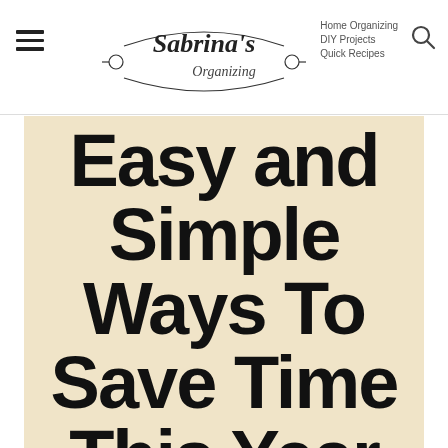Sabrina's Organizing — Home Organizing | DIY Projects | Quick Recipes
Easy and Simple Ways To Save Time This Year